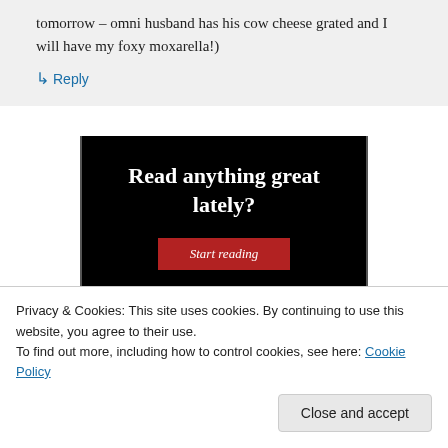tomorrow – omni husband has his cow cheese grated and I will have my foxy moxarella!)
↳ Reply
[Figure (screenshot): Dark advertisement banner with white serif text reading 'Read anything great lately?' and a red button labeled 'Start reading']
Privacy & Cookies: This site uses cookies. By continuing to use this website, you agree to their use.
To find out more, including how to control cookies, see here: Cookie Policy
Close and accept